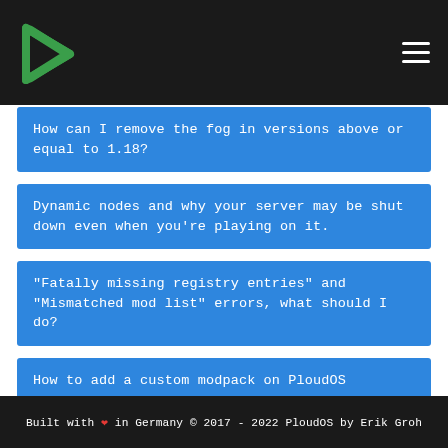PloudOS logo and navigation menu
How can I remove the fog in versions above or equal to 1.18?
Dynamic nodes and why your server may be shut down even when you're playing on it.
"Fatally missing registry entries" and "Mismatched mod list" errors, what should I do?
How to add a custom modpack on PloudOS
Built with ❤ in Germany © 2017 - 2022 PloudOS by Erik Groh